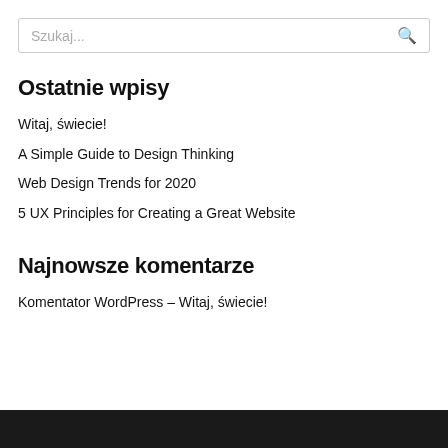Szukaj...
Ostatnie wpisy
Witaj, świecie!
A Simple Guide to Design Thinking
Web Design Trends for 2020
5 UX Principles for Creating a Great Website
Najnowsze komentarze
Komentator WordPress – Witaj, świecie!